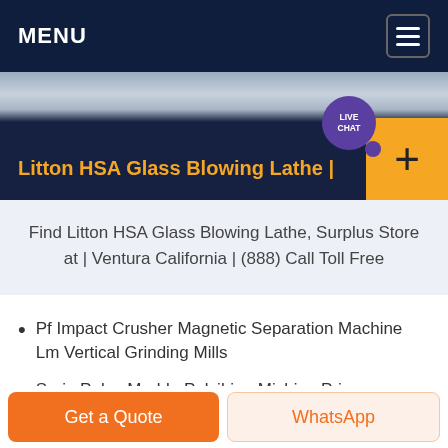MENU
Litton HSA Glass Blowing Lathe |
Find Litton HSA Glass Blowing Lathe, Surplus Store at | Ventura California | (888) Call Toll Free
Pf Impact Crusher Magnetic Separation Machine Lm Vertical Grinding Mills
Surie Polex Marble Polsihing Michine Price
Silica Sand Washing Machine Manufacturer Gambia